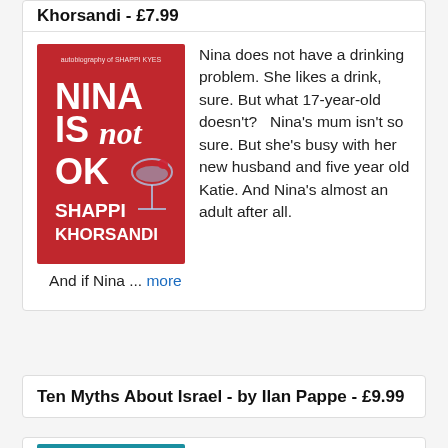Khorsandi - £7.99
[Figure (illustration): Red book cover for 'Nina Is Not OK' by Shappi Khorsandi, featuring bold white text and a martini glass illustration]
Nina does not have a drinking problem. She likes a drink, sure. But what 17-year-old doesn't?   Nina's mum isn't so sure. But she's busy with her new husband and five year old Katie. And Nina's almost an adult after all.   And if Nina ... more
Ten Myths About Israel - by Ilan Pappe - £9.99
[Figure (illustration): Teal/blue book cover for 'Ten Myths' (About Israel) by Ilan Pappe]
The myths — and reality — behind the